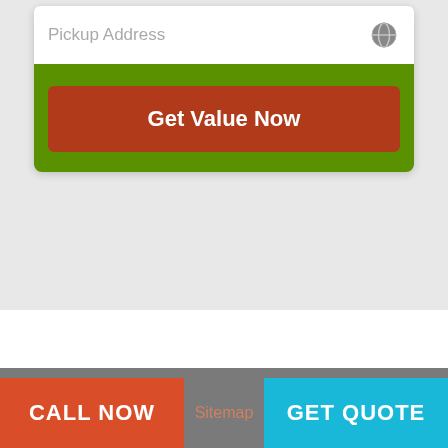[Figure (screenshot): Green card widget with a 'Pickup Address' text input field with a globe icon, and a dark red 'Get Value Now' button below it.]
Quick Links
Home
Blog
Contact Us
CALL NOW   Sitemap   GET QUOTE